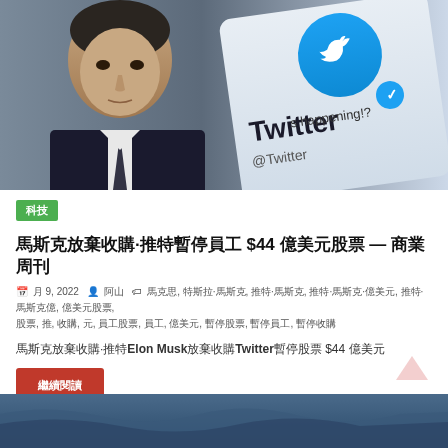[Figure (photo): Photo of Elon Musk alongside a Twitter app interface showing the Twitter logo, blue checkmark, '@Twitter' handle, and text 'What's happening!?']
科技
馬斯克放棄收購·推特暫停員工 $44 億美元股票 — 商業周刊
月 9, 2022  記者：阿山  標籤：馬克思, 特斯拉·馬斯克, 推特·馬斯克, 推特·馬斯克·億美元, 推特·馬斯克億, 億美元股票, 股票, 放棄, 收購, 推, 員工股票, 員工, 億美元, 收, 暫停股票, 暫停員工, 暫停收購
馬斯克放棄收購·推特Elon Musk放棄收購Twitter暫停股票 $44 億美元
繼續閱讀
[Figure (photo): Partial bottom image, appears to show a seascape or ocean scene]